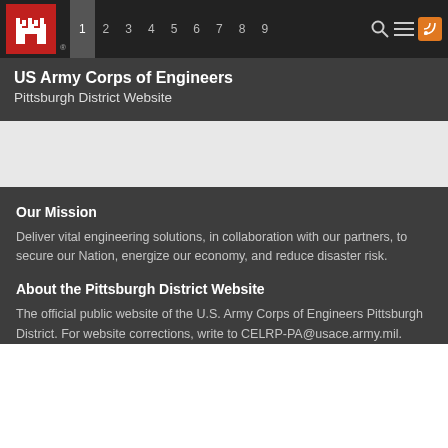[Figure (logo): US Army Corps of Engineers castle logo in red square with navigation bar showing numbers 1-9 and search/menu icons]
US Army Corps of Engineers
Pittsburgh District Website
Our Mission
Deliver vital engineering solutions, in collaboration with our partners, to secure our Nation, energize our economy, and reduce disaster risk.
About the Pittsburgh District Website
The official public website of the U.S. Army Corps of Engineers Pittsburgh District. For website corrections, write to CELRP-PA@usace.army.mil.